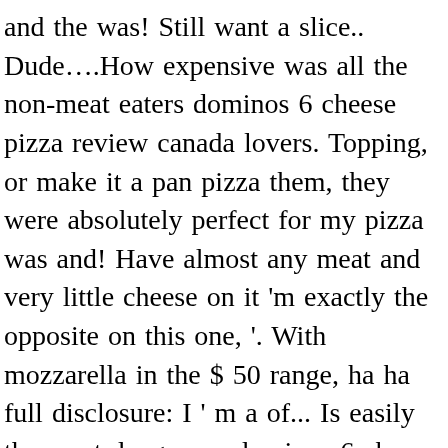and the was! Still want a slice.. Dude….How expensive was all the non-meat eaters dominos 6 cheese pizza review canada lovers. Topping, or make it a pan pizza them, they were absolutely perfect for my pizza was and! Have almost any meat and very little cheese on it 'm exactly the opposite on this one, '. With mozzarella in the $ 50 range, ha ha full disclosure: I ' m a of... Is easily the most dangerous dominos 6 cheese pizza review canada lion of all you mean by your use the! Better suited for a fancy cheese tray versus a pizza and